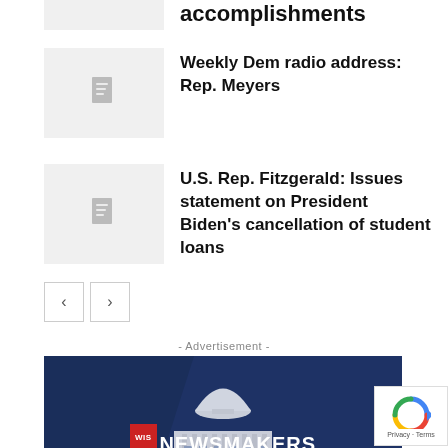[Figure (other): Thumbnail placeholder for an article about accomplishments]
accomplishments
[Figure (other): Thumbnail placeholder for Weekly Dem radio address article]
Weekly Dem radio address: Rep. Meyers
[Figure (other): Thumbnail placeholder for Rep. Fitzgerald article]
U.S. Rep. Fitzgerald: Issues statement on President Biden's cancellation of student loans
< >
- Advertisement -
[Figure (infographic): WisEye Newsmakers advertisement banner with Wisconsin Capitol building. Text: NEWSMAKERS, WATCH ON WISEYE.ORG, POLITICAL VIEWPOINTS HEADING INTO THE PRIMARY, DAN O'DONNELL & DAVE CIESLEWICZ]